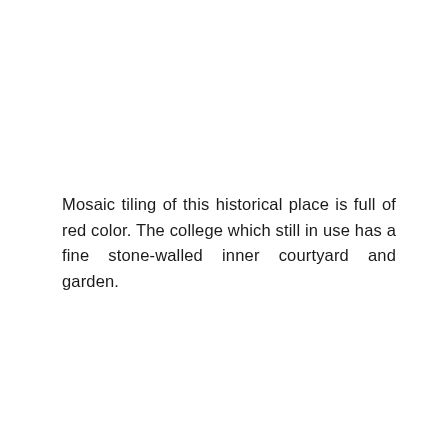Mosaic tiling of this historical place is full of red color. The college which still in use has a fine stone-walled inner courtyard and garden.